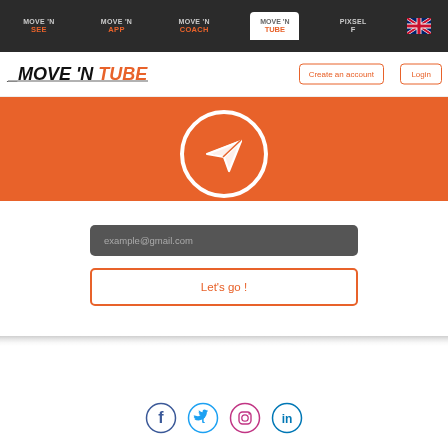MOVE'N SEE | MOVE'N APP | MOVE'N COACH | MOVE'N TUBE | PIXSEL F | [UK flag]
[Figure (logo): MOVE'N TUBE logo in black and orange italic text]
Create an account
Login
[Figure (illustration): Orange banner with white circle containing a paper plane send icon]
example@gmail.com
Let's go !
[Figure (infographic): Social media icons: Facebook, Twitter, Instagram, LinkedIn]